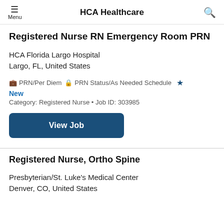Menu | HCA Healthcare | Search
Registered Nurse RN Emergency Room PRN
HCA Florida Largo Hospital
Largo, FL, United States
PRN/Per Diem   PRN Status/As Needed Schedule  ★
New
Category: Registered Nurse • Job ID: 303985
View Job
Registered Nurse, Ortho Spine
Presbyterian/St. Luke's Medical Center
Denver, CO, United States